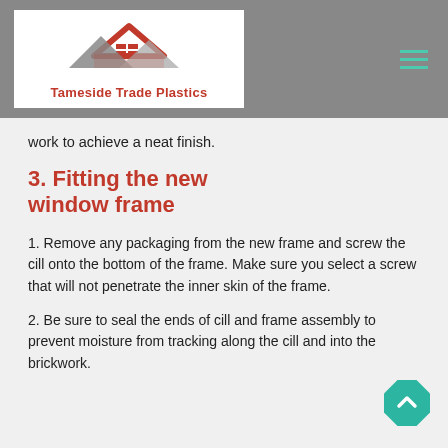[Figure (logo): Tameside Trade Plastics logo with house/mountain silhouette graphic in red and grey, company name in red text below]
work to achieve a neat finish.
3. Fitting the new window frame
1. Remove any packaging from the new frame and screw the cill onto the bottom of the frame. Make sure you select a screw that will not penetrate the inner skin of the frame.
2. Be sure to seal the ends of cill and frame assembly to prevent moisture from tracking along the cill and into the brickwork.